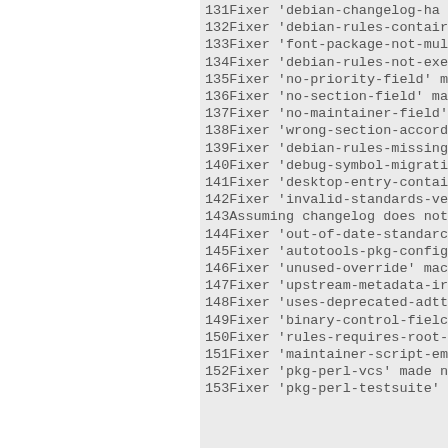131  Fixer 'debian-changelog-ha...
132  Fixer 'debian-rules-contain...
133  Fixer 'font-package-not-mul...
134  Fixer 'debian-rules-not-exe...
135  Fixer 'no-priority-field' m...
136  Fixer 'no-section-field' ma...
137  Fixer 'no-maintainer-field'...
138  Fixer 'wrong-section-accord...
139  Fixer 'debian-rules-missing...
140  Fixer 'debug-symbol-migrati...
141  Fixer 'desktop-entry-contai...
142  Fixer 'invalid-standards-ve...
143  Assuming changelog does not...
144  Fixer 'out-of-date-standard...
145  Fixer 'autotools-pkg-config...
146  Fixer 'unused-override' mac...
147  Fixer 'upstream-metadata-in...
148  Fixer 'uses-deprecated-adtt...
149  Fixer 'binary-control-field...
150  Fixer 'rules-requires-root-...
151  Fixer 'maintainer-script-em...
152  Fixer 'pkg-perl-vcs' made n...
153  Fixer 'pkg-perl-testsuite'...